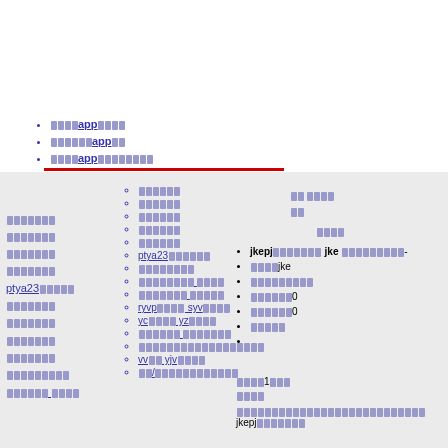████app████
██████app██
████app████████
██████
██████
██████
██████
██████
ptya23██████
████████
█████████ ████
███████ █████
ryvp████ syv████
yc████ yz████
██████ ███████
██████████████████
vv██ yjv████
██/████████████
██ ████
██
████
jkepj████████ jke ██████████-
████jke
█████████
██████0
██████0
█████
████1███
████
███████████████████████████ jkepj███████